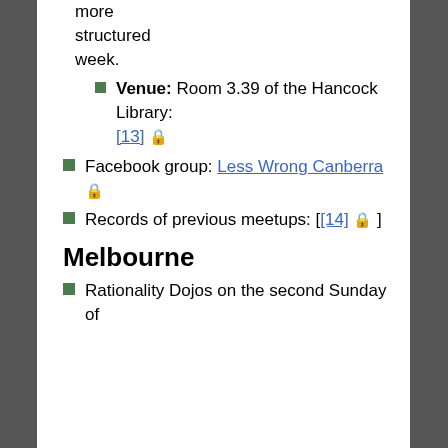more structured week.
Venue: Room 3.39 of the Hancock Library: [13] 🔒
Facebook group: Less Wrong Canberra 🔒
Records of previous meetups: [[14] 🔒 ]
Melbourne
Rationality Dojos on the second Sunday of